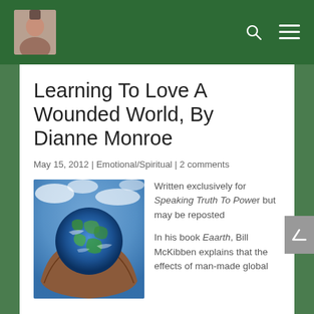[Figure (photo): Website header bar with dark green background, avatar photo of a woman on the left, search icon and hamburger menu icon on the right]
Learning To Love A Wounded World, By Dianne Monroe
May 15, 2012 | Emotional/Spiritual | 2 comments
[Figure (photo): Hands holding a globe of the Earth with clouds visible]
Written exclusively for Speaking Truth To Power but may be reposted

In his book Eaarth, Bill McKibben explains that the effects of man-made global